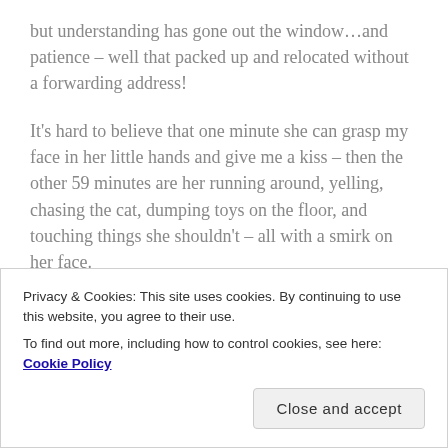but understanding has gone out the window…and patience – well that packed up and relocated without a forwarding address!
It's hard to believe that one minute she can grasp my face in her little hands and give me a kiss – then the other 59 minutes are her running around, yelling, chasing the cat, dumping toys on the floor, and touching things she shouldn't – all with a smirk on her face.
Add in trying to potty train, fighting with her to get her teeth brushed, and reminding her nightly that she
Privacy & Cookies: This site uses cookies. By continuing to use this website, you agree to their use.
To find out more, including how to control cookies, see here: Cookie Policy
Close and accept